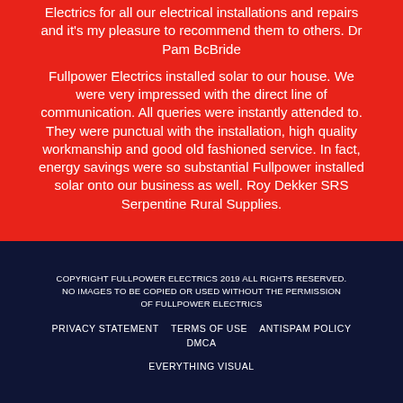Electrics for all our electrical installations and repairs and it's my pleasure to recommend them to others. Dr Pam BcBride
Fullpower Electrics installed solar to our house. We were very impressed with the direct line of communication. All queries were instantly attended to. They were punctual with the installation, high quality workmanship and good old fashioned service. In fact, energy savings were so substantial Fullpower installed solar onto our business as well. Roy Dekker SRS Serpentine Rural Supplies.
COPYRIGHT FULLPOWER ELECTRICS 2019 ALL RIGHTS RESERVED. NO IMAGES TO BE COPIED OR USED WITHOUT THE PERMISSION OF FULLPOWER ELECTRICS
PRIVACY STATEMENT   TERMS OF USE   ANTISPAM POLICY   DMCA
EVERYTHING VISUAL